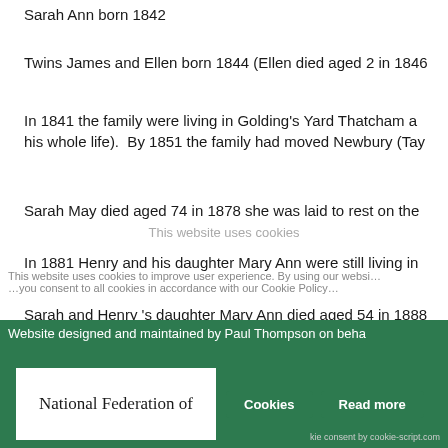Sarah Ann born 1842
Twins James and Ellen born 1844 (Ellen died aged 2 in 1846…
In 1841 the family were living in Golding's Yard Thatcham and… his whole life). By 1851 the family had moved Newbury (Tay…
Sarah May died aged 74 in 1878 she was laid to rest on the…
In 1881 Henry and his daughter Mary Ann were still living in…
Sarah and Henry 's daughter Mary Ann died aged 54 in 1888…
Henry died aged 85 on the 30th October 1889 and was laid t…
Sources:as above
Website designed and maintained by Paul Thompson on beha…